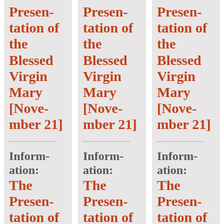Presentation of the Blessed Virgin Mary [November 21]
Information: The Presentation of the
Presentation of the Blessed Virgin Mary [November 21]
Information: The Presentation of the
Presentation of the Blessed Virgin Mary [November 21]
Information: The Presentation of the